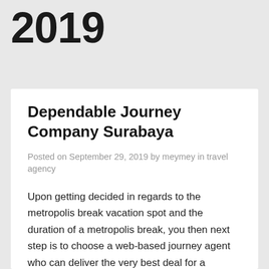2019
Dependable Journey Company Surabaya
Posted on September 29, 2019 by meymey in travel agency
Upon getting decided in regards to the metropolis break vacation spot and the duration of a metropolis break, you then next step is to choose a web-based journey agent who can deliver the very best deal for a metropolis break. By planning a visit with Augusta Travel Company, you will be certain of essentially the most subtle, up-to-the minute journey accommodations accessible in the journey industry. To obtain our Travel Specials e mail, which incorporates different excellent companies that our travel agents can help you with, please fill out this manner. We’re an impartial